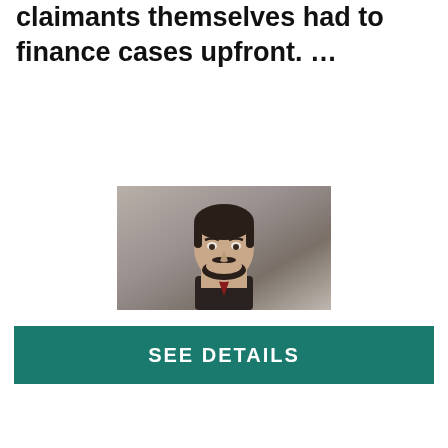claimants themselves had to finance cases upfront. …
[Figure (photo): Professional headshot of a man with dark hair and beard wearing a dark suit and tie, photographed against a neutral background]
SEE DETAILS